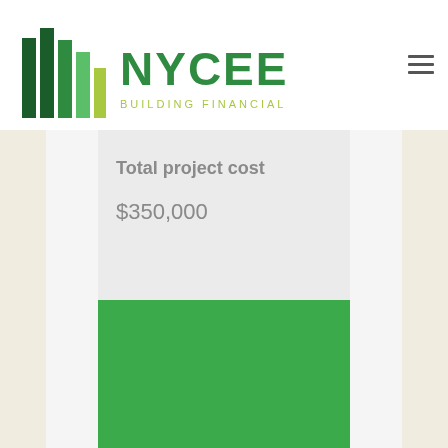[Figure (logo): NYCEEC logo with green bar chart graphic and text 'NYCEEC BUILDING FINANCIAL SOLUTIONS']
Total project cost
$350,000